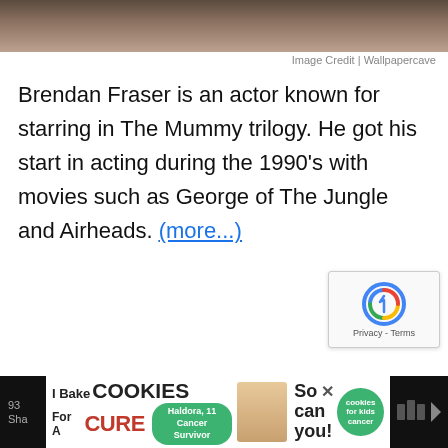[Figure (photo): Top portion of a person's photo, partially cropped, showing dark clothing and background]
Image Credit | Wallpapercave
Brendan Fraser is an actor known for starring in The Mummy trilogy. He got his start in acting during the 1990's with movies such as George of The Jungle and Airheads. (more...)
[Figure (other): reCAPTCHA widget with Privacy and Terms links]
[Figure (other): Advertisement banner: I Bake COOKIES For A CURE - Haldora, 11 Cancer Survivor - So can you! - cookies for kids cancer]